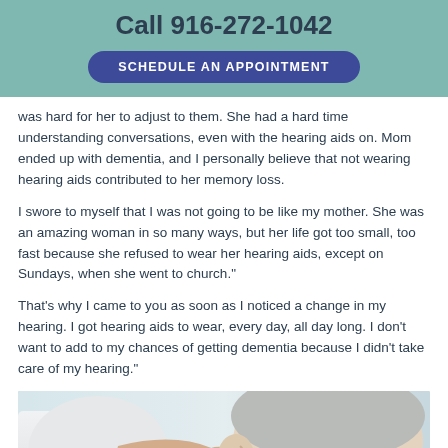Call 916-272-1042
SCHEDULE AN APPOINTMENT
was hard for her to adjust to them. She had a hard time understanding conversations, even with the hearing aids on. Mom ended up with dementia, and I personally believe that not wearing hearing aids contributed to her memory loss.
I swore to myself that I was not going to be like my mother. She was an amazing woman in so many ways, but her life got too small, too fast because she refused to wear her hearing aids, except on Sundays, when she went to church."
That's why I came to you as soon as I noticed a change in my hearing. I got hearing aids to wear, every day, all day long. I don't want to add to my chances of getting dementia because I didn't take care of my hearing."
[Figure (photo): A healthcare professional fitting a hearing aid on an elderly patient's ear.]